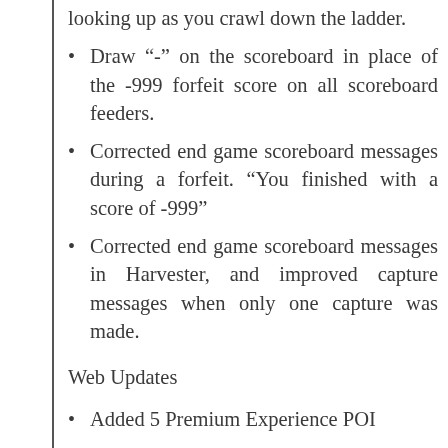looking up as you crawl down the ladder.
Draw "-" on the scoreboard in place of the -999 forfeit score on all scoreboard feeders.
Corrected end game scoreboard messages during a forfeit. “You finished with a score of -999”
Corrected end game scoreboard messages in Harvester, and improved capture messages when only one capture was made.
Web Updates
Added 5 Premium Experience POI